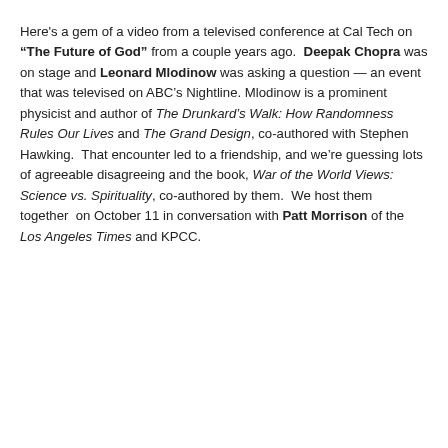Here's a gem of a video from a televised conference at Cal Tech on "The Future of God" from a couple years ago. Deepak Chopra was on stage and Leonard Mlodinow was asking a question — an event that was televised on ABC's Nightline. Mlodinow is a prominent physicist and author of The Drunkard's Walk: How Randomness Rules Our Lives and The Grand Design, co-authored with Stephen Hawking. That encounter led to a friendship, and we're guessing lots of agreeable disagreeing and the book, War of the World Views: Science vs. Spirituality, co-authored by them. We host them together on October 11 in conversation with Patt Morrison of the Los Angeles Times and KPCC.